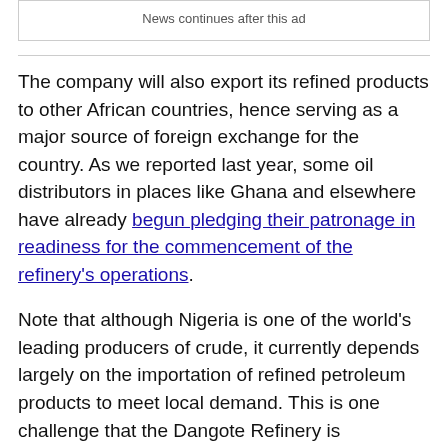News continues after this ad
The company will also export its refined products to other African countries, hence serving as a major source of foreign exchange for the country. As we reported last year, some oil distributors in places like Ghana and elsewhere have already begun pledging their patronage in readiness for the commencement of the refinery's operations.
Note that although Nigeria is one of the world's leading producers of crude, it currently depends largely on the importation of refined petroleum products to meet local demand. This is one challenge that the Dangote Refinery is positioned to change for good.